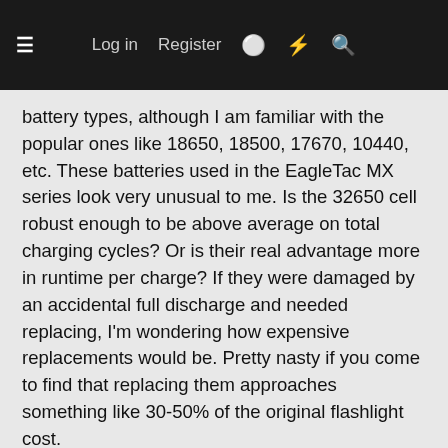Log in  Register
battery types, although I am familiar with the popular ones like 18650, 18500, 17670, 10440, etc. These batteries used in the EagleTac MX series look very unusual to me. Is the 32650 cell robust enough to be above average on total charging cycles? Or is their real advantage more in runtime per charge? If they were damaged by an accidental full discharge and needed replacing, I'm wondering how expensive replacements would be. Pretty nasty if you come to find that replacing them approaches something like 30-50% of the original flashlight cost.
Last edited: Mar 14, 2013